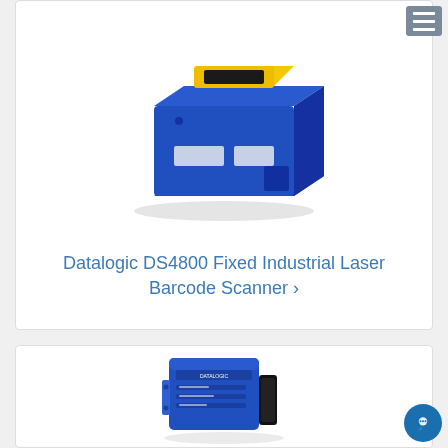[Figure (photo): Datalogic DS4800 Fixed Industrial Laser Barcode Scanner - blue and yellow colored device photographed at an angle on white background]
Datalogic DS4800 Fixed Industrial Laser Barcode Scanner ›
[Figure (photo): Datalogic fixed industrial scanner - blue rectangular device with connector ports, side view on white background]